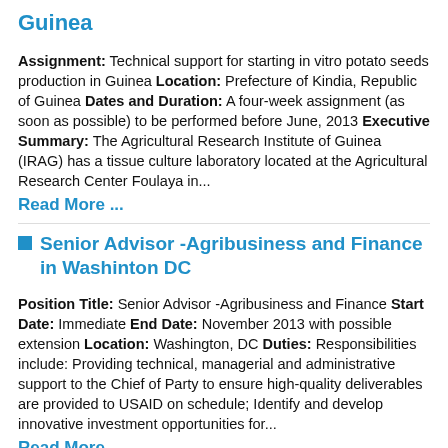Guinea
Assignment: Technical support for starting in vitro potato seeds production in Guinea Location: Prefecture of Kindia, Republic of Guinea Dates and Duration: A four-week assignment (as soon as possible) to be performed before June, 2013 Executive Summary: The Agricultural Research Institute of Guinea (IRAG) has a tissue culture laboratory located at the Agricultural Research Center Foulaya in...
Read More ...
Senior Advisor -Agribusiness and Finance in Washinton DC
Position Title: Senior Advisor -Agribusiness and Finance Start Date: Immediate End Date: November 2013 with possible extension Location: Washington, DC Duties: Responsibilities include: Providing technical, managerial and administrative support to the Chief of Party to ensure high-quality deliverables are provided to USAID on schedule; Identify and develop innovative investment opportunities for...
Read More ...